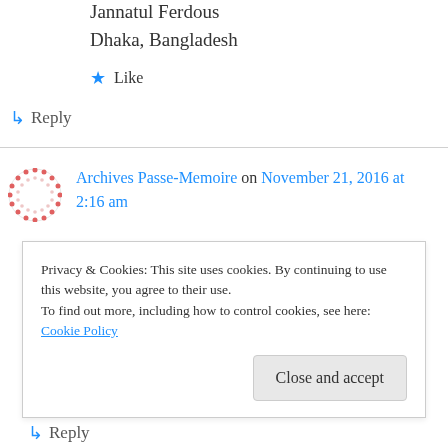Jannatul Ferdous
Dhaka, Bangladesh
★ Like
↪ Reply
Archives Passe-Memoire on November 21, 2016 at 2:16 am
Hi, I'm director of Archives Passe-Mémoire in Montreal: we collect personal writings (diaries, letters, memoirs) of "ordinary" persons. We
Privacy & Cookies: This site uses cookies. By continuing to use this website, you agree to their use.
To find out more, including how to control cookies, see here: Cookie Policy
Close and accept
↪ Reply